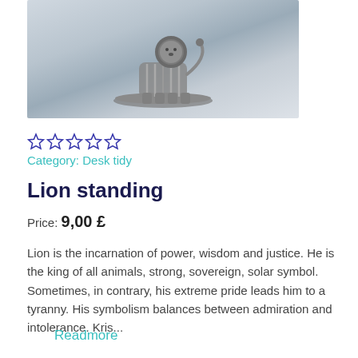[Figure (photo): Metal sculpture of a standing lion on a circular base, bronze/dark metal color, photographed on a light grey-blue background]
☆☆☆☆☆
Category: Desk tidy
Lion standing
Price: 9,00 £
Lion is the incarnation of power, wisdom and justice. He is the king of all animals, strong, sovereign, solar symbol. Sometimes, in contrary, his extreme pride leads him to a tyranny. His symbolism balances between admiration and intolerance. Kris...
Readmore